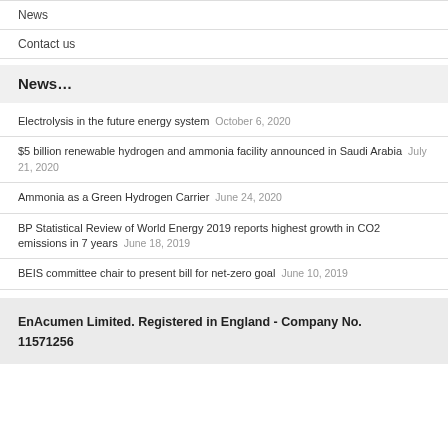News
Contact us
News…
Electrolysis in the future energy system   October 6, 2020
$5 billion renewable hydrogen and ammonia facility announced in Saudi Arabia   July 21, 2020
Ammonia as a Green Hydrogen Carrier   June 24, 2020
BP Statistical Review of World Energy 2019 reports highest growth in CO2 emissions in 7 years   June 18, 2019
BEIS committee chair to present bill for net-zero goal   June 10, 2019
EnAcumen Limited. Registered in England - Company No. 11571256